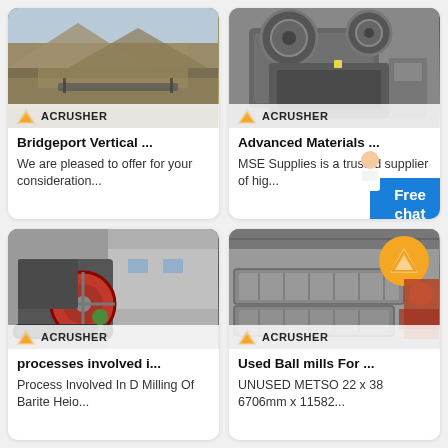[Figure (photo): Quarry with crushing equipment and conveyor belts, outdoor mining site, ACRUSHER logo overlay at bottom]
[Figure (photo): Large industrial crusher/mill machine, gray box-shaped heavy equipment, ACRUSHER logo overlay at bottom]
Bridgeport Vertical ...
We are pleased to offer for your consideration...
Advanced Materials ...
MSE Supplies is a trusted supplier of hig...
[Figure (photo): Jaw crusher machine with red flywheel, mobile tracked crusher unit, ACRUSHER logo overlay at bottom]
[Figure (photo): Used ball mill trough/pan components in a workshop, orange ACRUSHER badge overlay, ACRUSHER logo at bottom]
processes involved i...
Process Involved In D Milling Of Barite Heio...
Used Ball mills For ...
UNUSED METSO 22 x 38 6706mm x 11582...